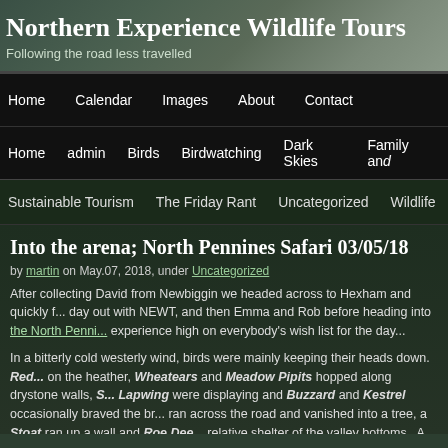Northern Experience Wildlife Tours
Following the road less travelled
Home | Calendar | Images | About | Contact
Home | admin | Birds | Birdwatching | Dark Skies | Family and...
Sustainable Tourism | The Friday Rant | Uncategorized | Wildlife
Into the arena; North Pennines Safari 03/05/18
by martin on May.07, 2018, under Uncategorized
After collecting David from Newbiggin we headed across to Hexham and quickly f... day out with NEWT, and then Emma and Rob before heading into the North Penni... experience high on everybody's wish list for the day...
In a bitterly cold westerly wind, birds were mainly keeping their heads down. Red... on the heather, Wheatears and Meadow Pipits hopped along drystone walls, S... Lapwing were displaying and Buzzard and Kestrel occasionally braved the br... ran across the road and vanished into a tree, a Stoat ran up a wall and Roe Dee... relative shelter of the valley bottoms. A quick check of our favourite Black Grous... lunch produced no birds, and just a lone Blackcock feeding in a nearby fiel...